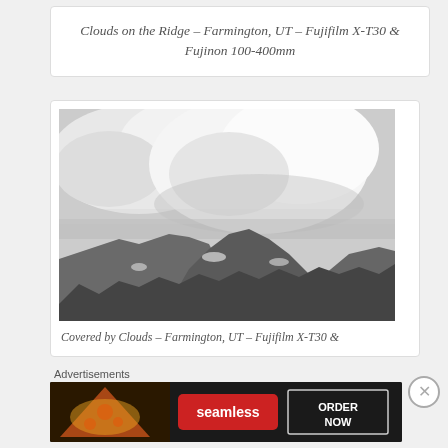Clouds on the Ridge – Farmington, UT – Fujifilm X-T30 & Fujinon 100-400mm
[Figure (photo): Black and white photograph of mountain ridgeline with dramatic clouds above, taken in Farmington, UT with Fujifilm X-T30 and Fujinon 100-400mm lens]
Covered by Clouds – Farmington, UT – Fujifilm X-T30 &
Advertisements
[Figure (photo): Seamless food delivery advertisement banner showing pizza with 'seamless' logo and 'ORDER NOW' button]